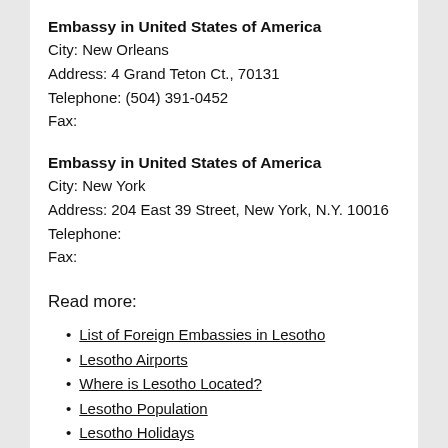Embassy in United States of America
City: New Orleans
Address: 4 Grand Teton Ct., 70131
Telephone: (504) 391-0452
Fax:
Embassy in United States of America
City: New York
Address: 204 East 39 Street, New York, N.Y. 10016
Telephone:
Fax:
Read more:
List of Foreign Embassies in Lesotho
Lesotho Airports
Where is Lesotho Located?
Lesotho Population
Lesotho Holidays
Currency in Lesotho
Lesotho Facts
Lesotho Major Exports